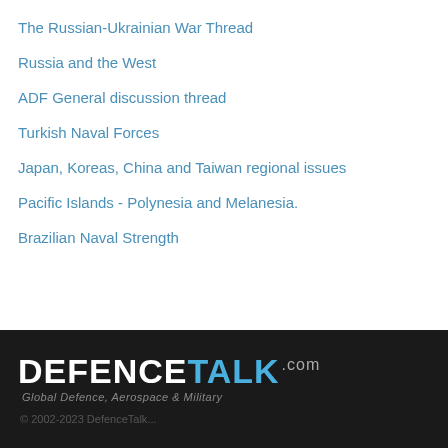The Russian-Ukrainian War Thread
Russia and the West
ADF General discussion thread
Turkish Naval Forces
Japan, Koreas, China and Taiwan regional issues
Pacific Islands - Polynesia and Melanesia.
Brazilian Naval Strength
[Figure (logo): DefenceTalk.com logo - Global Defence, Aerospace & Military]
© 2002-2023 DefenceTalk...